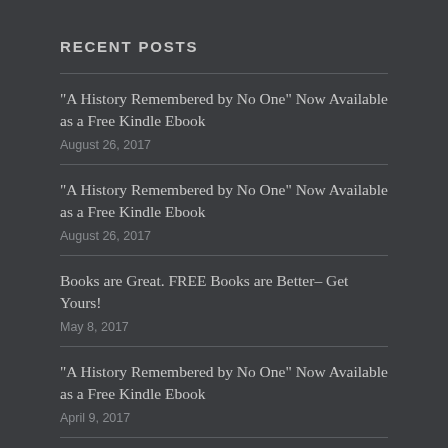RECENT POSTS
“A History Remembered by No One” Now Available as a Free Kindle Ebook
August 26, 2017
“A History Remembered by No One” Now Available as a Free Kindle Ebook
August 26, 2017
Books are Great. FREE Books are Better– Get Yours!
May 8, 2017
“A History Remembered by No One” Now Available as a Free Kindle Ebook
April 9, 2017
“Into the Memory Hole”